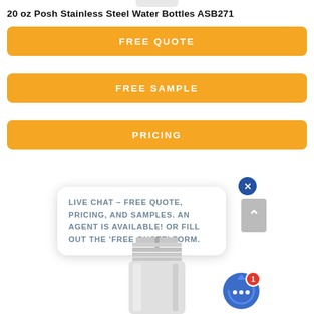20 oz Posh Stainless Steel Water Bottles ASB271
FREE QUOTE
FREE SAMPLE
PRICING
[Figure (screenshot): Live chat popup bubble with text: LIVE CHAT – FREE QUOTE, PRICING, AND SAMPLES. AN AGENT IS AVAILABLE! OR FILL OUT THE 'FREE QUOTE' FORM.]
[Figure (photo): Bottom portion of a stainless steel water bottle with lid, metallic silver appearance]